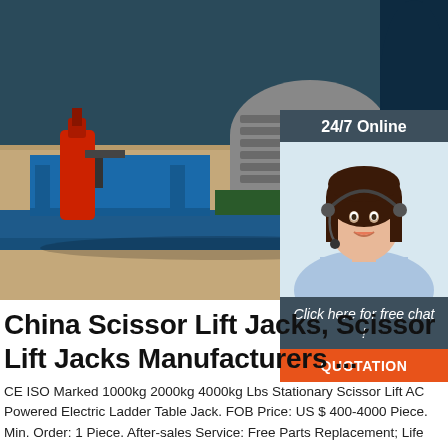[Figure (photo): Industrial electric motor and hydraulic pump assembly mounted on a blue steel frame on a concrete floor, with a red hydraulic cylinder visible on the left side.]
[Figure (photo): 24/7 Online chat widget showing a smiling woman with a headset, with 'Click here for free chat!' text and an orange QUOTATION button.]
China Scissor Lift Jacks, Scissor Lift Jacks Manufacturers ...
CE ISO Marked 1000kg 2000kg 4000kg Lbs Stationary Scissor Lift AC Powered Electric Ladder Table Jack. FOB Price: US $ 400-4000 Piece. Min. Order: 1 Piece. After-sales Service: Free Parts Replacement; Life Technical Support. Application: